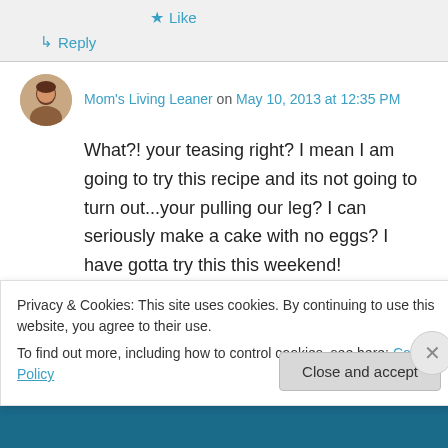★ Like
↳ Reply
Mom's Living Leaner on May 10, 2013 at 12:35 PM
What?! your teasing right? I mean I am going to try this recipe and its not going to turn out...your pulling our leg? I can seriously make a cake with no eggs? I have gotta try this this weekend!
★ Like
Privacy & Cookies: This site uses cookies. By continuing to use this website, you agree to their use.
To find out more, including how to control cookies, see here: Cookie Policy
Close and accept